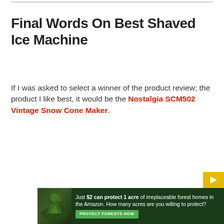Final Words On Best Shaved Ice Machine
If I was asked to select a winner of the product review; the product I like best, it would be the Nostalgia SCM502 Vintage Snow Cone Maker.
[Figure (infographic): Green ad banner with rainforest image. Text reads: Just $2 can protect 1 acre of irreplaceable forest homes in the Amazon. How many acres are you willing to protect? Button: PROTECT FORESTS NOW]